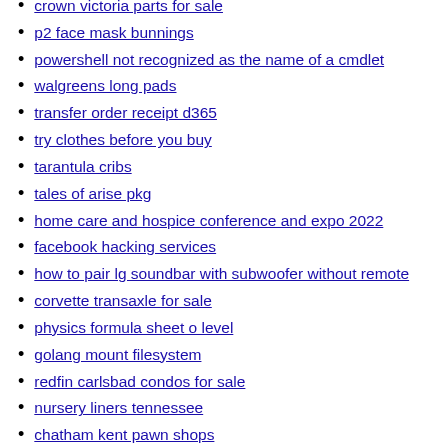crown victoria parts for sale
p2 face mask bunnings
powershell not recognized as the name of a cmdlet
walgreens long pads
transfer order receipt d365
try clothes before you buy
tarantula cribs
tales of arise pkg
home care and hospice conference and expo 2022
facebook hacking services
how to pair lg soundbar with subwoofer without remote
corvette transaxle for sale
physics formula sheet o level
golang mount filesystem
redfin carlsbad condos for sale
nursery liners tennessee
chatham kent pawn shops
allwinner h616 sdk
massey ferguson 1825e weight
api for restaurants by location
chapter 151b statute of limitations
pagyamanin gawain 1 paglinang ng talasalitaan
hz to s
mylaps flex transponder lights
ceo ex husband begs to remarry easton and madeleine